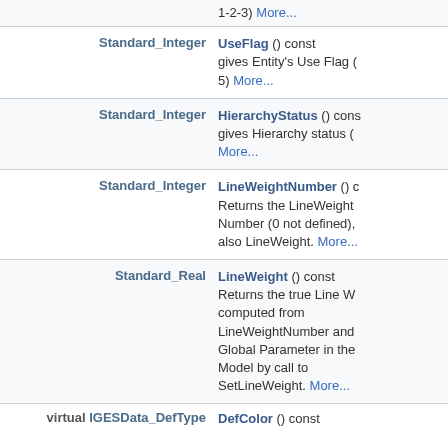| Return Type | Method |
| --- | --- |
|  | 1-2-3) More... |
| Standard_Integer | UseFlag () const
gives Entity's Use Flag (0-to-5) More... |
| Standard_Integer | HierarchyStatus () const
gives Hierarchy status (0-1-2) More... |
| Standard_Integer | LineWeightNumber () const
Returns the LineWeight Number (0 not defined), also LineWeight. More... |
| Standard_Real | LineWeight () const
Returns the true Line Weight computed from LineWeightNumber and Global Parameter in the Model by call to SetLineWeight. More... |
| virtual IGESData_DefType | DefColor () const |